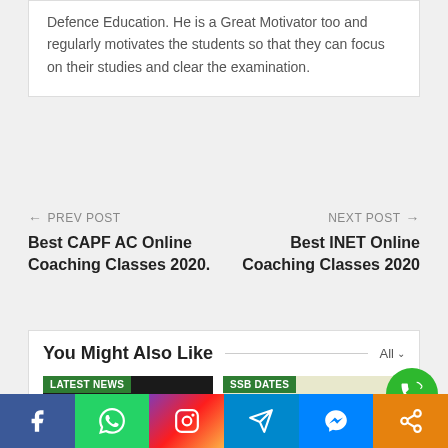Defence Education. He is a Great Motivator too and regularly motivates the students so that they can focus on their studies and clear the examination.
← PREV POST
Best CAPF AC Online Coaching Classes 2020.
NEXT POST →
Best INET Online Coaching Classes 2020
You Might Also Like
[Figure (photo): Thumbnail with LATEST NEWS badge and yellow bold text: Best Coaching for nath Scheme Prepara]
[Figure (photo): Thumbnail with SSB DATES badge and cyan bold text: Is English C]
[Figure (infographic): Green circular phone/call button icon]
[Figure (infographic): Social share bar with Facebook, WhatsApp, Instagram, Telegram, Messenger, Share icons]